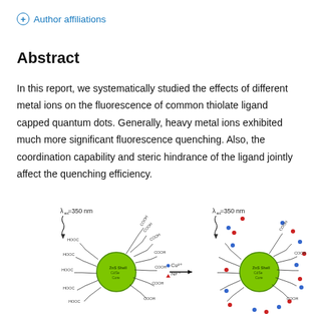⊕ Author affiliations
Abstract
In this report, we systematically studied the effects of different metal ions on the fluorescence of common thiolate ligand capped quantum dots. Generally, heavy metal ions exhibited much more significant fluorescence quenching. Also, the coordination capability and steric hindrance of the ligand jointly affect the quenching efficiency.
[Figure (illustration): Schematic illustration of CdSe quantum dots with thiolate ligands (COOH groups) capped on ZnS shell. Left side shows QD excited at λex=350 nm with no metal ions. Right side shows the same QD after addition of Cu2+ (blue dots) and Ni2+ (red dots) metal ions. An arrow labeled Cu2+ and Ni2+ points from left QD to right QD, showing the effect of metal ion addition on the fluorescent quantum dots.]